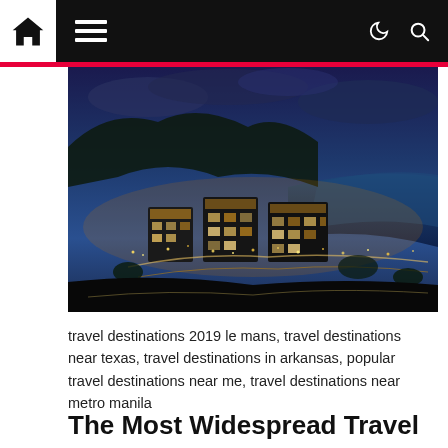Navigation bar with home icon, menu icon, dark mode and search icons
[Figure (photo): Aerial night view of a coastal city with illuminated buildings, streets, and a bay in the background under a blue twilight sky]
travel destinations 2019 le mans, travel destinations near texas, travel destinations in arkansas, popular travel destinations near me, travel destinations near metro manila
The Most Widespread Travel